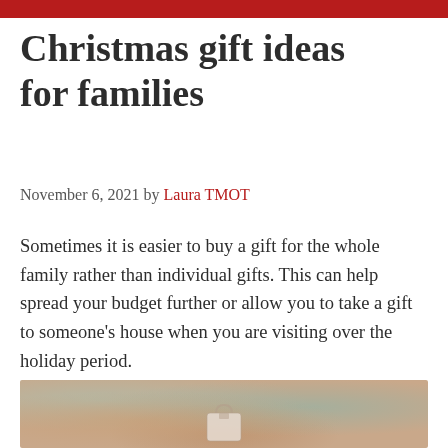Christmas gift ideas for families
November 6, 2021 by Laura TMOT
Sometimes it is easier to buy a gift for the whole family rather than individual gifts. This can help spread your budget further or allow you to take a gift to someone’s house when you are visiting over the holiday period.
[Figure (photo): A photo showing Christmas gifts or decorations with warm holiday colors]